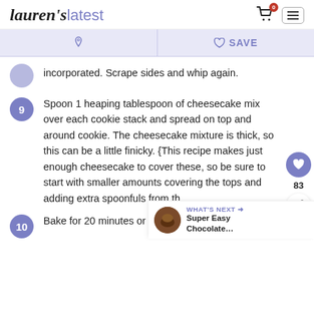lauren's latest
incorporated. Scrape sides and whip again.
Spoon 1 heaping tablespoon of cheesecake mix over each cookie stack and spread on top and around cookie. The cheesecake mixture is thick, so this can be a little finicky. {This recipe makes just enough cheesecake to cover these, so be sure to start with smaller amounts covering the tops and adding extra spoonfuls from th...
Bake for 20 minutes or until